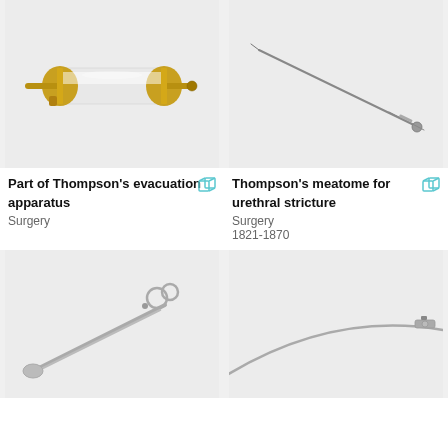[Figure (photo): Part of Thompson's evacuation apparatus - a glass and brass cylindrical device with a gold-colored tap/valve and connector fittings on a light grey background]
[Figure (photo): Thompson's meatome for urethral stricture - a long thin surgical instrument resembling a needle with a small bulb tip, on a light grey background]
Part of Thompson's evacuation apparatus
Surgery
Thompson's meatome for urethral stricture
Surgery
1821-1870
[Figure (photo): Surgical scissors or clamp - a metal instrument with ring handles and elongated blades, on a light grey background]
[Figure (photo): Long thin surgical instrument - a curved metal rod or catheter with a handle mechanism at one end, on a light grey background]